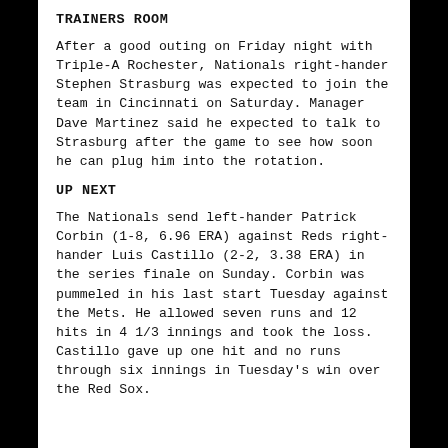TRAINERS ROOM
After a good outing on Friday night with Triple-A Rochester, Nationals right-hander Stephen Strasburg was expected to join the team in Cincinnati on Saturday. Manager Dave Martinez said he expected to talk to Strasburg after the game to see how soon he can plug him into the rotation.
UP NEXT
The Nationals send left-hander Patrick Corbin (1-8, 6.96 ERA) against Reds right-hander Luis Castillo (2-2, 3.38 ERA) in the series finale on Sunday. Corbin was pummeled in his last start Tuesday against the Mets. He allowed seven runs and 12 hits in 4 1/3 innings and took the loss. Castillo gave up one hit and no runs through six innings in Tuesday's win over the Red Sox.